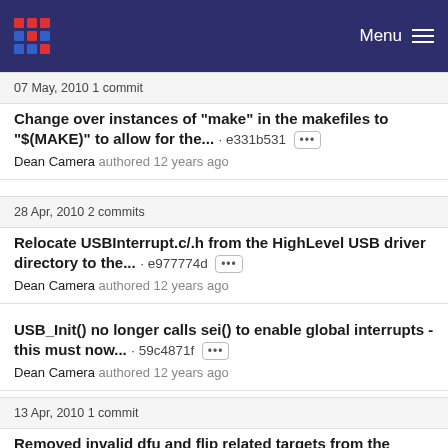Menu
07 May, 2010 1 commit
Change over instances of "make" in the makefiles to "$(MAKE)" to allow for the... · e331b531
Dean Camera authored 12 years ago
28 Apr, 2010 2 commits
Relocate USBInterrupt.c/.h from the HighLevel USB driver directory to the... · e977774d
Dean Camera authored 12 years ago
USB_Init() no longer calls sei() to enable global interrupts - this must now... · 59c4871f
Dean Camera authored 12 years ago
13 Apr, 2010 1 commit
Removed invalid dfu and flip related targets from the bootloaders -... · 19ecd04f